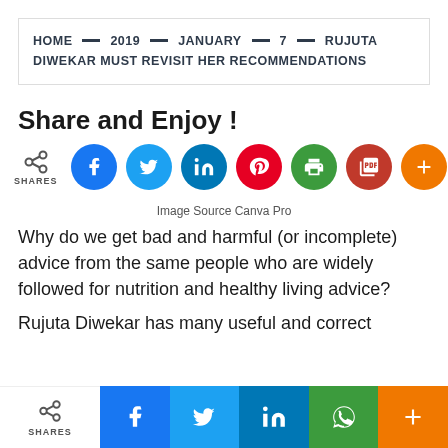HOME — 2019 — JANUARY — 7 — RUJUTA DIWEKAR MUST REVISIT HER RECOMMENDATIONS
Share and Enjoy !
[Figure (infographic): Social share buttons row: share icon with SHARES label, then Facebook (blue), Twitter (light blue), LinkedIn (dark blue), Pinterest (red), Print (green), PDF (red), More (orange) circular icon buttons]
Image Source Canva Pro
Why do we get bad and harmful (or incomplete) advice from the same people who are widely followed for nutrition and healthy living advice?
Rujuta Diwekar has many useful and correct
SHARES | Facebook | Twitter | LinkedIn | WhatsApp | More